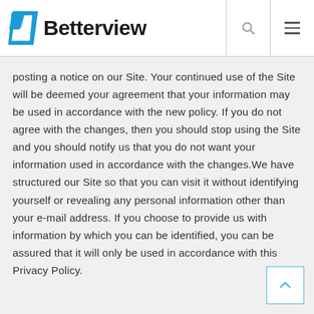Betterview
posting a notice on our Site. Your continued use of the Site will be deemed your agreement that your information may be used in accordance with the new policy. If you do not agree with the changes, then you should stop using the Site and you should notify us that you do not want your information used in accordance with the changes.We have structured our Site so that you can visit it without identifying yourself or revealing any personal information other than your e-mail address. If you choose to provide us with information by which you can be identified, you can be assured that it will only be used in accordance with this Privacy Policy.